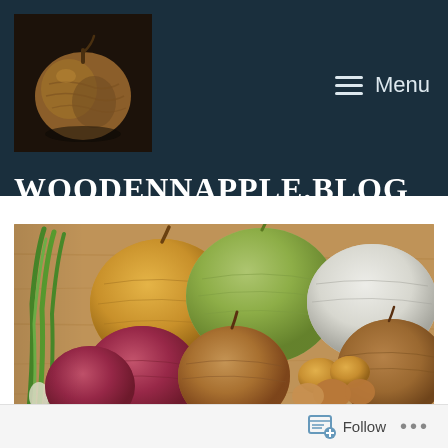[Figure (photo): Wooden apple logo image — a carved wooden apple on a dark background]
WOODENNAPPLE.BLOG
[Figure (photo): Photograph of various types of onions on a wooden cutting board: yellow onion, white onion, red onions, green onions/scallions, shallots, and a brown onion]
Follow ...